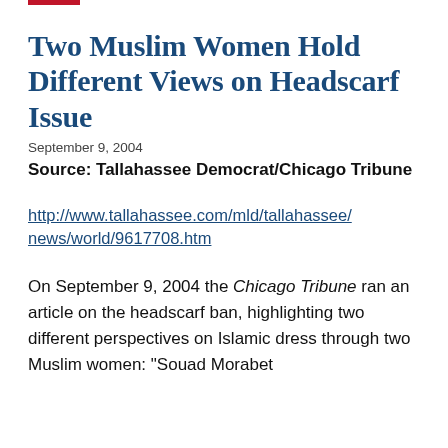Two Muslim Women Hold Different Views on Headscarf Issue
September 9, 2004
Source: Tallahassee Democrat/Chicago Tribune
http://www.tallahassee.com/mld/tallahassee/news/world/9617708.htm
On September 9, 2004 the Chicago Tribune ran an article on the headscarf ban, highlighting two different perspectives on Islamic dress through two Muslim women: "Souad Morabet